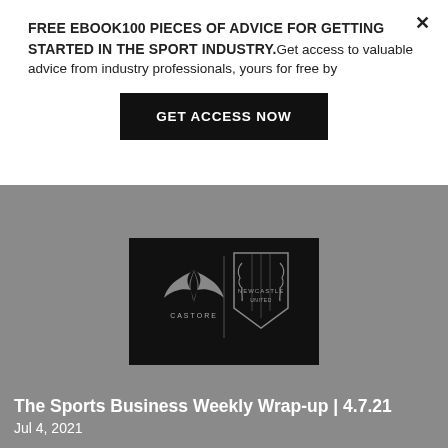FREE EBOOK100 PIECES OF ADVICE FOR GETTING STARTED IN THE SPORT INDUSTRY.Get access to valuable advice from industry professionals, yours for free by
GET ACCESS NOW
[Figure (logo): Castore brand logo alongside Newcastle United FC crest on a black background]
The Sports Business Weekly Wrap-up | 4.7.21
Jul 4, 2021